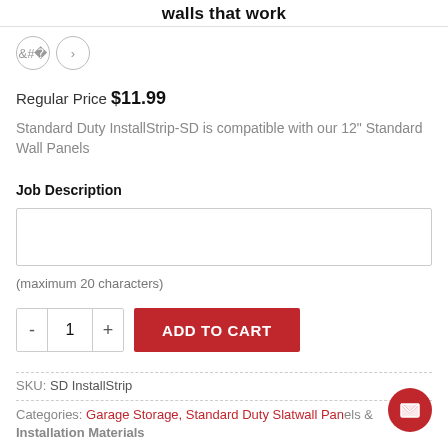walls that work
Regular Price $11.99
Standard Duty InstallStrip-SD is compatible with our 12" Standard Wall Panels
Job Description
(maximum 20 characters)
SKU: SD InstallStrip
Categories: Garage Storage, Standard Duty Slatwall Panels & Installation Materials